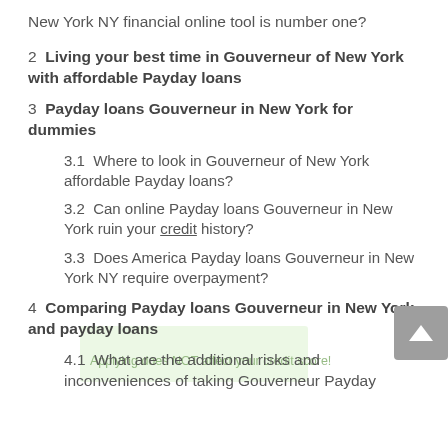New York NY financial online tool is number one?
2  Living your best time in Gouverneur of New York with affordable Payday loans
3  Payday loans Gouverneur in New York for dummies
3.1  Where to look in Gouverneur of New York affordable Payday loans?
3.2  Can online Payday loans Gouverneur in New York ruin your credit history?
3.3  Does America Payday loans Gouverneur in New York NY require overpayment?
4  Comparing Payday loans Gouverneur in New York and payday loans
4.1  What are the additional risks and inconveniences of taking Gouverneur Payday